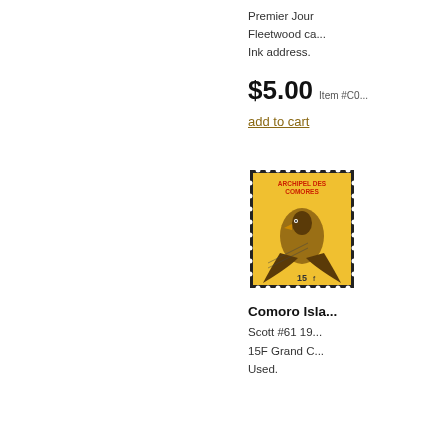Premier Jour Fleetwood ca... Ink address.
$5.00 Item #C0...
add to cart
[Figure (photo): Yellow Comoro Islands postage stamp showing a bird, denomination 15F, Scott #61]
Comoro Isla...
Scott #61 19... 15F Grand C... Used.